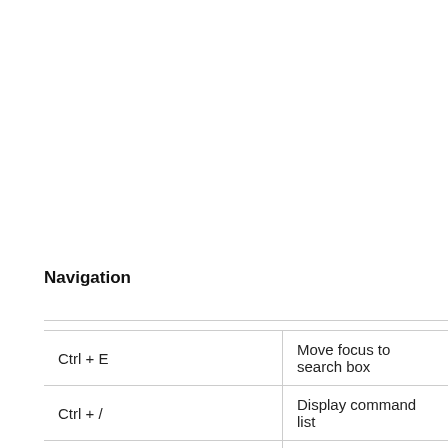Navigation
| Ctrl + E | Move focus to search box |
| Ctrl + / | Display command list |
| Ctrl + G | Go to… |
| Ctrl + 1 | Open Activity tab |